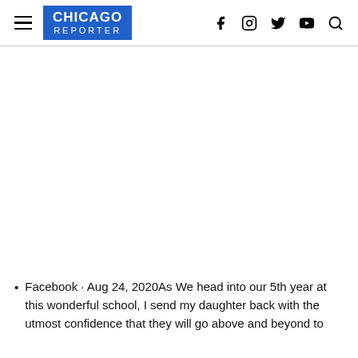CHICAGO REPORTER
Facebook · Aug 24, 2020As We head into our 5th year at this wonderful school, I send my daughter back with the utmost confidence that they will go above and beyond to